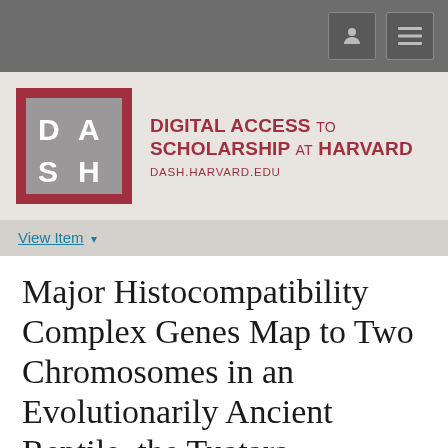DASH — Digital Access to Scholarship at Harvard
[Figure (logo): DASH logo: a red-bordered square containing a grey square with the letters D A S H in white, arranged in a 2x2 grid]
DIGITAL ACCESS TO SCHOLARSHIP AT HARVARD
DASH.HARVARD.EDU
View Item ▾
Major Histocompatibility Complex Genes Map to Two Chromosomes in an Evolutionarily Ancient Reptile, the Tuatara Sphenodon punctatus